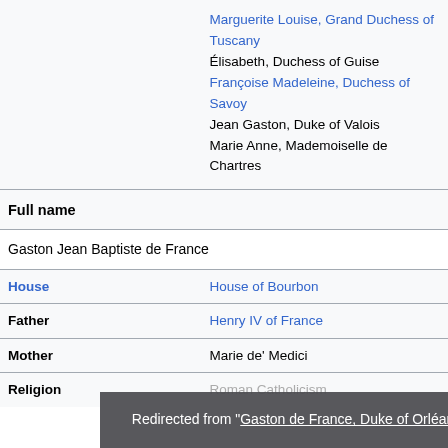|  | Marguerite Louise, Grand Duchess of Tuscany
Élisabeth, Duchess of Guise
Françoise Madeleine, Duchess of Savoy
Jean Gaston, Duke of Valois
Marie Anne, Mademoiselle de Chartres |
| Full name |  |
|  | Gaston Jean Baptiste de France |
| House | House of Bourbon |
| Father | Henry IV of France |
| Mother | Marie de' Medici |
| Religion | Roman Catholicism |
Redirected from "Gaston de France, Duke of Orléans"